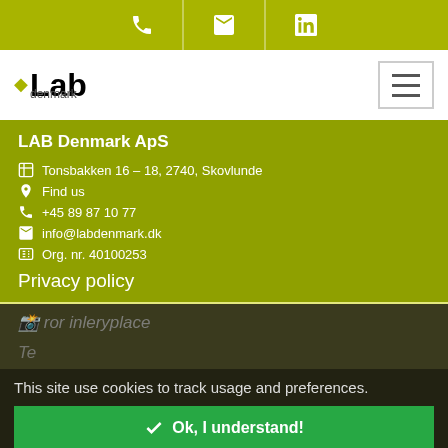[Figure (screenshot): Top navigation bar with olive/yellow-green background containing phone, email, and LinkedIn icons]
[Figure (logo): LAB Denmark logo with diamond bullet, stylized 'Lab' text and 'denmark' subtitle, plus hamburger menu icon on right]
LAB Denmark ApS
Tonsbakken 16 – 18, 2740, Skovlunde
Find us
+45 89 87 10 77
info@labdenmark.dk
Org. nr. 40100253
Privacy policy
This site use cookies to track usage and preferences.
Ok, I understand!
Privacy policy
Copyright 2023 LAB Denmark ApS. All rights reserved.